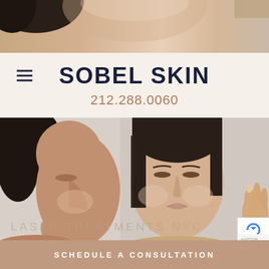[Figure (photo): Close-up top portion of a woman's face with skin showing, cropped at forehead/hair level, soft neutral tones]
SOBEL SKIN
212.288.0060
[Figure (photo): Two women examining skin in a mirror; one woman's profile and another's face reflected, both with clear healthy skin, neutral gray background]
LASER TREATMENTS NYC
SCHEDULE A CONSULTATION